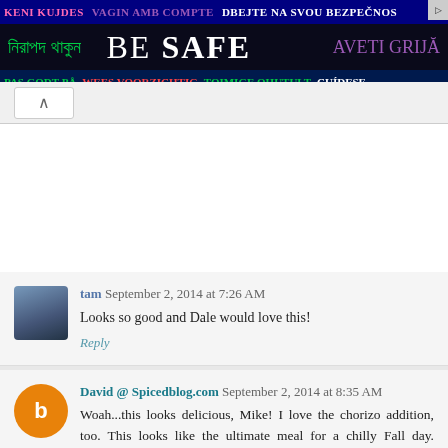[Figure (other): Multilingual safety banner advertisement with dark blue/black background. Row 1: 'KENI KUJDES' (pink), 'VAGIN AMB COMPTE' (purple), 'DBEJTE NA SVOU BEZPECNOS' (white). Row 2: Bengali text in green, 'BE SAFE' in large white bold text, 'AVETI GRIJA' in purple. Row 3: 'PAS GODT PA' (green), 'WEES VOORZICHTIG' (red), 'TOIMIGE OHUTULT' (green), 'CUIDESE' (white).]
^
tam September 2, 2014 at 7:26 AM
Looks so good and Dale would love this!
Reply
David @ Spicedblog.com September 2, 2014 at 8:35 AM
Woah...this looks delicious, Mike! I love the chorizo addition, too. This looks like the ultimate meal for a chilly Fall day. Nicework! #WolfpackEats